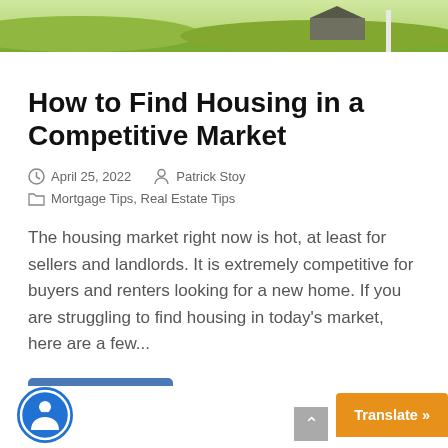[Figure (photo): Outdoor photo showing green landscape with a house/barn in the background and a white post or sign]
How to Find Housing in a Competitive Market
April 25, 2022   Patrick Stoy
Mortgage Tips, Real Estate Tips
The housing market right now is hot, at least for sellers and landlords. It is extremely competitive for buyers and renters looking for a new home. If you are struggling to find housing in today's market, here are a few...
Read More